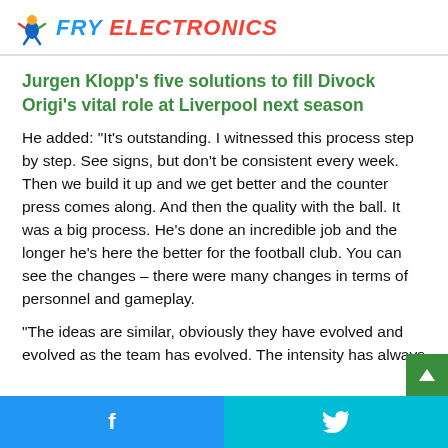FRY ELECTRONICS
Jurgen Klopp's five solutions to fill Divock Origi's vital role at Liverpool next season
He added: “It’s outstanding. I witnessed this process step by step. See signs, but don’t be consistent every week. Then we build it up and we get better and the counter press comes along. And then the quality with the ball. It was a big process. He’s done an incredible job and the longer he’s here the better for the football club. You can see the changes – there were many changes in terms of personnel and gameplay.
“The ideas are similar, obviously they have evolved and evolved as the team has evolved. The intensity has always